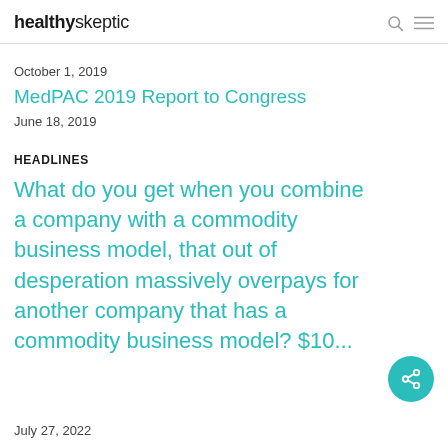healthyskeptic
October 1, 2019
MedPAC 2019 Report to Congress
June 18, 2019
HEADLINES
What do you get when you combine a company with a commodity business model, that out of desperation massively overpays for another company that has a commodity business model?  $10...
July 27, 2022